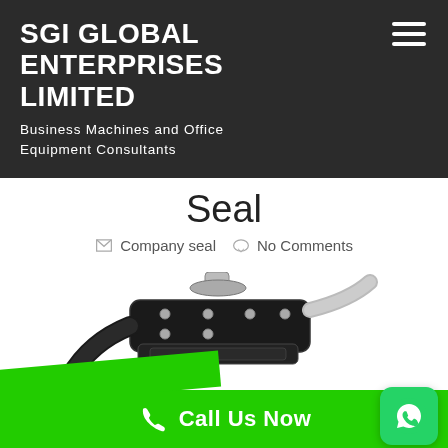SGI GLOBAL ENTERPRISES LIMITED
Business Machines and Office Equipment Consultants
Seal
Company seal   No Comments
[Figure (photo): Close-up photo of a black and chrome embosser/company seal device, with a green diagonal stripe element in the lower left and a partial circular logo in the lower right.]
Call Us Now